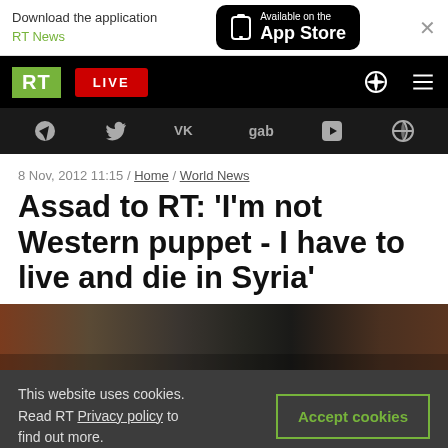[Figure (screenshot): App Store download banner with RT News branding and close button]
[Figure (screenshot): RT website navigation bar with RT logo, LIVE button, search and menu icons]
[Figure (screenshot): Social media icon bar with Telegram, Twitter, VK, Gab, Rumble, and globe icons]
8 Nov, 2012 11:15 / Home / World News
Assad to RT: 'I'm not Western puppet - I have to live and die in Syria'
[Figure (photo): Partial photo strip of Assad interview scene]
This website uses cookies. Read RT Privacy policy to find out more.
Accept cookies